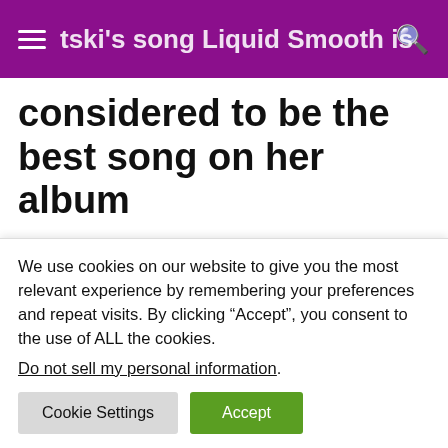Mitski's song Liquid Smooth is considered to be the best song on her album
considered to be the best song on her album
The lyrics to Mitski's song "Liquid Smooth" refer to her panic attack, which she experienced when she was a child. The song is a lyrical masterpiece that elevates a panic attack from an ordinary experience to a work of art. It is a beautiful song, which is widely regarded
We use cookies on our website to give you the most relevant experience by remembering your preferences and repeat visits. By clicking “Accept”, you consent to the use of ALL the cookies.
Do not sell my personal information.